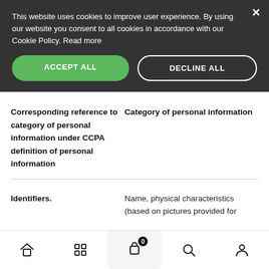This website uses cookies to improve user experience. By using our website you consent to all cookies in accordance with our Cookie Policy. Read more
ACCEPT ALL
DECLINE ALL
| Corresponding reference to category of personal information under CCPA definition of personal information | Category of personal information |
| --- | --- |
| Identifiers. | Name, physical characteristics (based on pictures provided for |